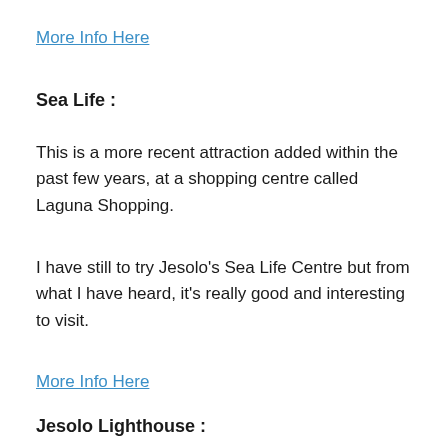More Info Here
Sea Life :
This is a more recent attraction added within the past few years, at a shopping centre called Laguna Shopping.
I have still to try Jesolo's Sea Life Centre but from what I have heard, it's really good and interesting to visit.
More Info Here
Jesolo Lighthouse :